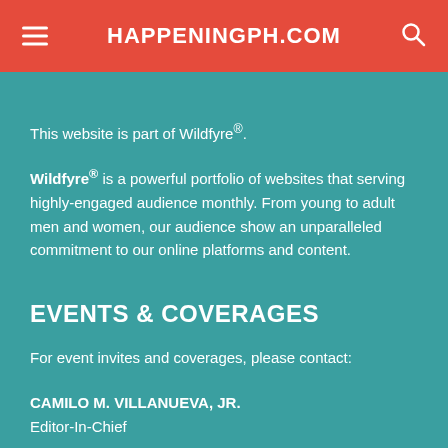HAPPENINGPH.COM
This website is part of Wildfyre®.
Wildfyre® is a powerful portfolio of websites that serving highly-engaged audience monthly. From young to adult men and women, our audience show an unparalleled commitment to our online platforms and content.
EVENTS & COVERAGES
For event invites and coverages, please contact:
CAMILO M. VILLANUEVA, JR.
Editor-In-Chief